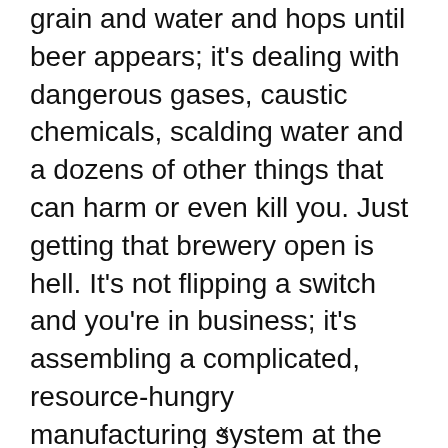grain and water and hops until beer appears; it's dealing with dangerous gases, caustic chemicals, scalding water and a dozens of other things that can harm or even kill you. Just getting that brewery open is hell. It's not flipping a switch and you're in business; it's assembling a complicated, resource-hungry manufacturing system at the same time you're building a neighborhood bar. Prepare to deal with bureaucracy at three different levels, and a mountain of ensuing paperwork to follow. This even assumes you can raise a pile of money in the first place; figures range from a meager $50,000 initial investment for a nanobrewery operation up to over $1 million for a larger-scale production brewery.
x